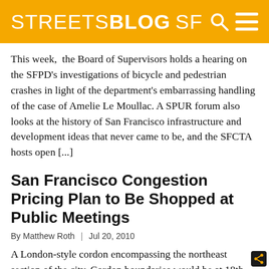STREETSBLOG SF
This week,  the Board of Supervisors holds a hearing on the SFPD's investigations of bicycle and pedestrian crashes in light of the department's embarrassing handling of the case of Amelie Le Moullac. A SPUR forum also looks at the history of San Francisco infrastructure and development ideas that never came to be, and the SFCTA hosts open [...]
San Francisco Congestion Pricing Plan to Be Shopped at Public Meetings
By Matthew Roth | Jul 20, 2010
A London-style cordon encompassing the northeast section of the city. Cordon boundaries would be at 18th Street to the south and Guerrero and Laguna Streets to the west. Image: SFCTA. While the full results of the San Francisco County Transportation Authority's (SFCTA) congestion pricing plan, the SF Mobility, Access, and Pricing Study